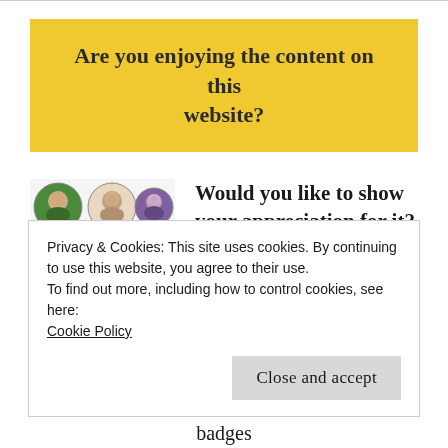Are you enjoying the content on this website?
[Figure (photo): Grid of round portrait badge pins showing historical figures]
Would you like to show your appreciation for it?
Then why not donate to help support it and the running costs. In return you will receive
Privacy & Cookies: This site uses cookies. By continuing to use this website, you agree to their use.
To find out more, including how to control cookies, see here: Cookie Policy
Close and accept
badges